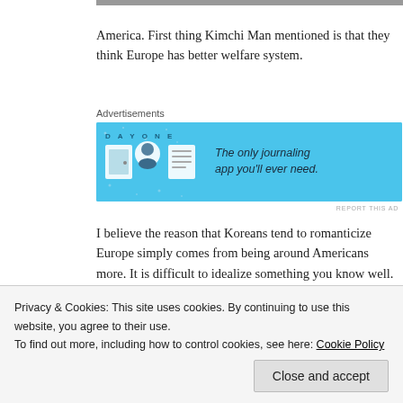[Figure (photo): Partial photo strip at top of page]
America. First thing Kimchi Man mentioned is that they think Europe has better welfare system.
Advertisements
[Figure (infographic): Day One journaling app advertisement banner with blue background, icons, and text 'The only journaling app you'll ever need.']
REPORT THIS AD
I believe the reason that Koreans tend to romanticize Europe simply comes from being around Americans more. It is difficult to idealize something you know well.
Most Korean students that go study abroad go
Korea are North Americans teaching English.
Privacy & Cookies: This site uses cookies. By continuing to use this website, you agree to their use.
To find out more, including how to control cookies, see here: Cookie Policy